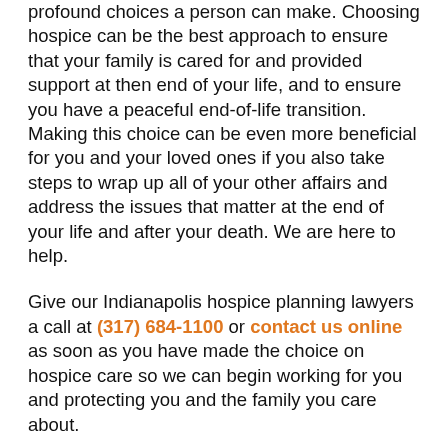profound choices a person can make. Choosing hospice can be the best approach to ensure that your family is cared for and provided support at then end of your life, and to ensure you have a peaceful end-of-life transition. Making this choice can be even more beneficial for you and your loved ones if you also take steps to wrap up all of your other affairs and address the issues that matter at the end of your life and after your death. We are here to help.
Give our Indianapolis hospice planning lawyers a call at (317) 684-1100 or contact us online as soon as you have made the choice on hospice care so we can begin working for you and protecting you and the family you care about.